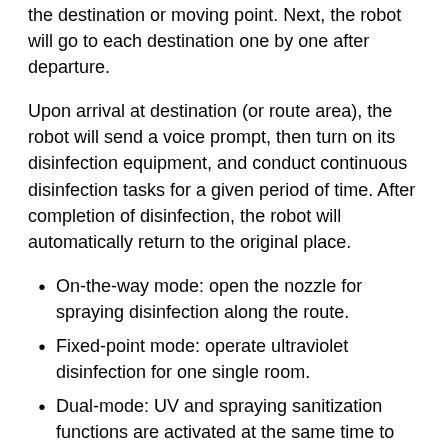the destination or moving point. Next, the robot will go to each destination one by one after departure.
Upon arrival at destination (or route area), the robot will send a voice prompt, then turn on its disinfection equipment, and conduct continuous disinfection tasks for a given period of time. After completion of disinfection, the robot will automatically return to the original place.
On-the-way mode: open the nozzle for spraying disinfection along the route.
Fixed-point mode: operate ultraviolet disinfection for one single room.
Dual-mode: UV and spraying sanitization functions are activated at the same time to disinfect a single room.
2.) In the disinfection process, each mode supports the functions of suspending